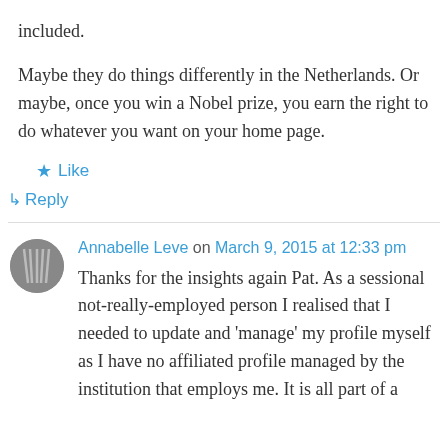included.
Maybe they do things differently in the Netherlands. Or maybe, once you win a Nobel prize, you earn the right to do whatever you want on your home page.
★ Like
↳ Reply
Annabelle Leve on March 9, 2015 at 12:33 pm
Thanks for the insights again Pat. As a sessional not-really-employed person I realised that I needed to update and 'manage' my profile myself as I have no affiliated profile managed by the institution that employs me. It is all part of a